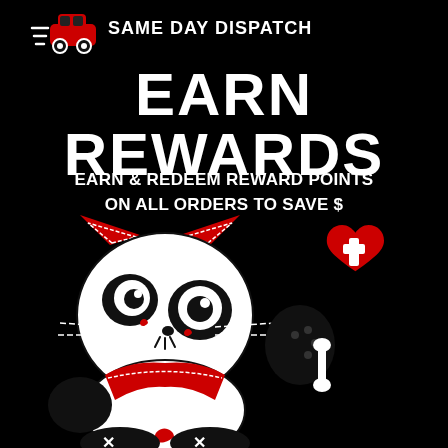[Figure (illustration): Red car icon (same day dispatch logo) with motion lines, small red delivery vehicle icon]
SAME DAY DISPATCH
EARN REWARDS
EARN & REDEEM REWARD POINTS ON ALL ORDERS TO SAVE $
[Figure (illustration): Cartoon gothic lucky cat (Maneki-neko) illustration in black, white and red with skull face, stitching details, red bow, holding a bone, with a red heart containing a white cross symbol in upper right]